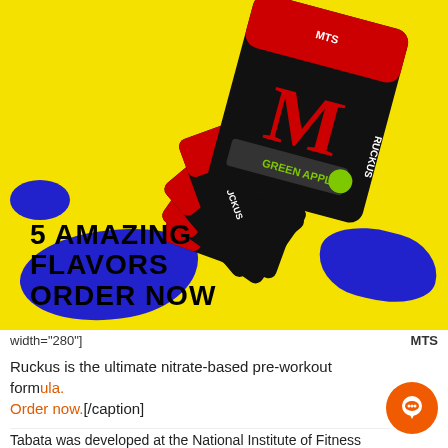[Figure (photo): MTS Ruckus pre-workout supplement tubs fanned out on a yellow and blue splat background with text '5 AMAZING FLAVORS ORDER NOW']
width="280"]   MTS
Ruckus is the ultimate nitrate-based pre-workout formula. Order now.[/caption]
Tabata was developed at the National Institute of Fitness